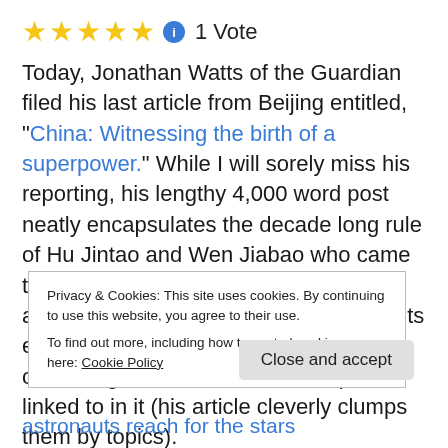★★★★★ ℹ 1 Vote
Today, Jonathan Watts of the Guardian filed his last article from Beijing entitled, "China: Witnessing the birth of a superpower." While I will sorely miss his reporting, his lengthy 4,000 word post neatly encapsulates the decade long rule of Hu Jintao and Wen Jiabao who came to power just months before Jonathan's arrival. It is absolutely worth reading in its entirety, but I created this handy chronological cheat sheet to the pieces linked to in it (his article cleverly clumps them by topics).
Privacy & Cookies: This site uses cookies. By continuing to use this website, you agree to their use.
To find out more, including how to control cookies, see here: Cookie Policy
Close and accept
astronauts reach for the stars